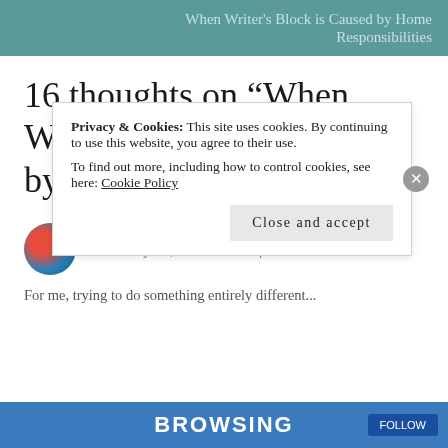When Writer's Block is Caused by Home Responsibilities
16 thoughts on “When Writer’s Block is Caused by a Lack of Creativity”
GLENMCKENZIE(JUSTABITFURTHER)
February 20, 2019 at 5:44 pm
For me, trying to do something entirely different...
Privacy & Cookies: This site uses cookies. By continuing to use this website, you agree to their use.
To find out more, including how to control cookies, see here: Cookie Policy
Close and accept